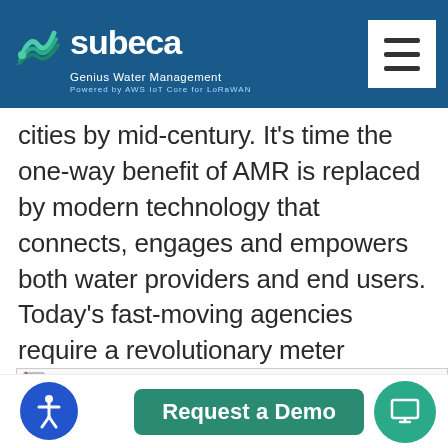Subeca — Genius Water Management — Powered by AWS IoT Core for LoRaWAN
cities by mid-century. It’s time the one-way benefit of AMR is replaced by modern technology that connects, engages and empowers both water providers and end users. Today’s fast-moving agencies require a revolutionary meter monitoring/valve control solution that benefits both utilities and their customers.
[Figure (other): Broken image placeholder row]
Request a Demo